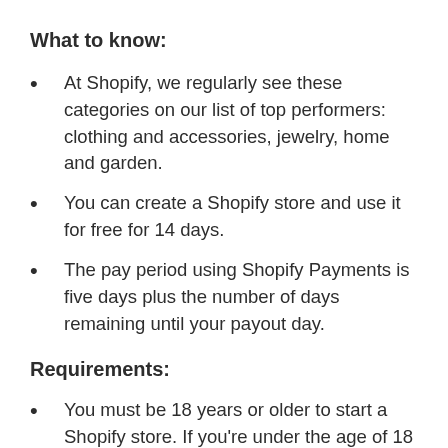What to know:
At Shopify, we regularly see these categories on our list of top performers: clothing and accessories, jewelry, home and garden.
You can create a Shopify store and use it for free for 14 days.
The pay period using Shopify Payments is five days plus the number of days remaining until your payout day.
Requirements:
You must be 18 years or older to start a Shopify store. If you're under the age of 18